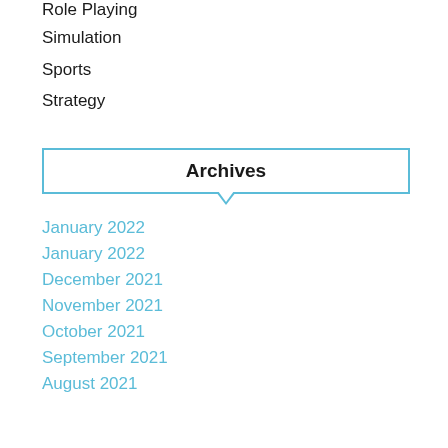Role Playing
Simulation
Sports
Strategy
Archives
January 2022
January 2022
December 2021
November 2021
October 2021
September 2021
August 2021